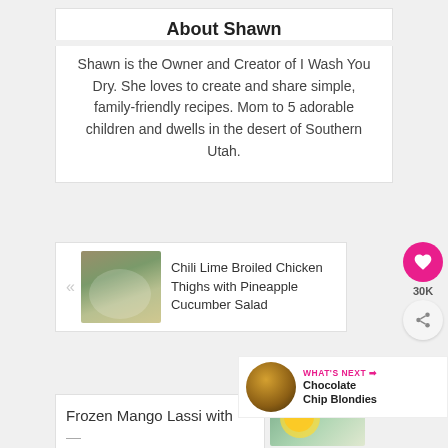About Shawn
Shawn is the Owner and Creator of I Wash You Dry. She loves to create and share simple, family-friendly recipes. Mom to 5 adorable children and dwells in the desert of Southern Utah.
Chili Lime Broiled Chicken Thighs with Pineapple Cucumber Salad
30K
WHAT'S NEXT → Chocolate Chip Blondies
Frozen Mango Lassi with